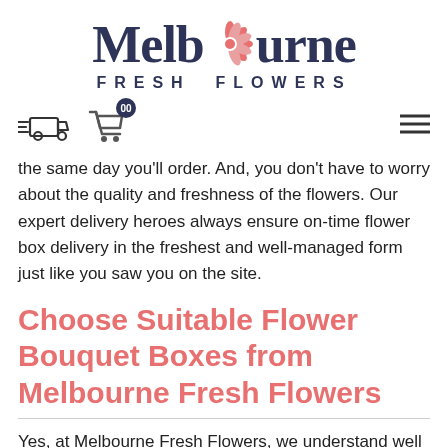[Figure (logo): Melbourne Fresh Flowers logo with pink snowflake/flower icon replacing the 'o' in Melbourne, dark navy text]
[Figure (infographic): Navigation bar with delivery truck icon, shopping cart icon with badge '00', and hamburger menu icon]
the same day you'll order. And, you don't have to worry about the quality and freshness of the flowers. Our expert delivery heroes always ensure on-time flower box delivery in the freshest and well-managed form just like you saw you on the site.
Choose Suitable Flower Bouquet Boxes from Melbourne Fresh Flowers
Yes, at Melbourne Fresh Flowers, we understand well how much you care for your loved ones. And to help you impress your